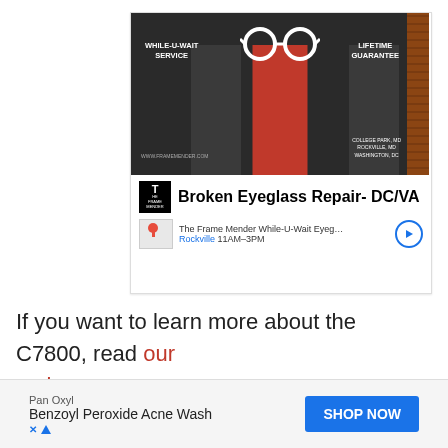[Figure (photo): Advertisement for Broken Eyeglass Repair DC/VA - The Frame Mender While-U-Wait Eyeglass store front photo showing dark exterior with glasses logo, 'While-U-Wait Service' and 'Lifetime Guarantee' text, store info row with logo, title, map thumbnail, Rockville 11AM-3PM hours, and navigation arrow button. Ad attribution icons top right.]
If you want to learn more about the C7800, read our review.
[Figure (other): Bottom banner advertisement: Pan Oxyl Benzoyl Peroxide Acne Wash with blue SHOP NOW button, and ad attribution X and triangle icons bottom left.]